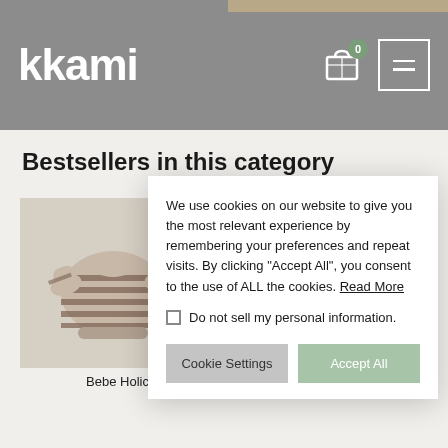kkami
Bestsellers in this category
[Figure (photo): Baby romper with horizontal brown/white stripes lying flat, product image for 'Bebe Holic']
[Figure (photo): Baby/child product image for 'LALA']
We use cookies on our website to give you the most relevant experience by remembering your preferences and repeat visits. By clicking “Accept All”, you consent to the use of ALL the cookies. Read More
Do not sell my personal information.
Cookie Settings
Accept All
Bebe Holic
LALA